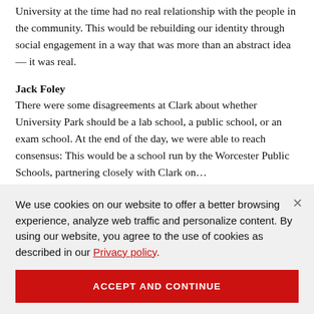University at the time had no real relationship with the people in the community. This would be rebuilding our identity through social engagement in a way that was more than an abstract idea — it was real.
Jack Foley
There were some disagreements at Clark about whether University Park should be a lab school, a public school, or an exam school. At the end of the day, we were able to reach consensus: This would be a school run by the Worcester Public Schools, partnering closely with Clark on…
We use cookies on our website to offer a better browsing experience, analyze web traffic and personalize content. By using our website, you agree to the use of cookies as described in our Privacy policy.
ACCEPT AND CONTINUE